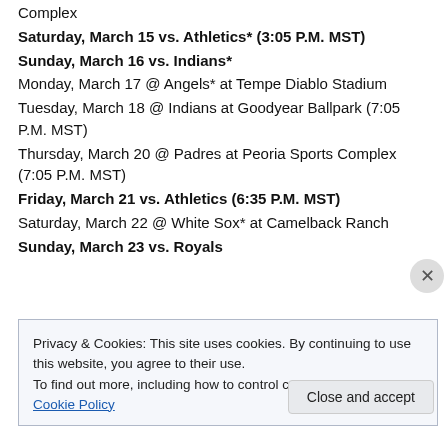Complex
Saturday, March 15 vs. Athletics* (3:05 P.M. MST)
Sunday, March 16 vs. Indians*
Monday, March 17 @ Angels* at Tempe Diablo Stadium
Tuesday, March 18 @ Indians at Goodyear Ballpark (7:05 P.M. MST)
Thursday, March 20 @ Padres at Peoria Sports Complex (7:05 P.M. MST)
Friday, March 21 vs. Athletics (6:35 P.M. MST)
Saturday, March 22 @ White Sox* at Camelback Ranch
Sunday, March 23 vs. Royals
Privacy & Cookies: This site uses cookies. By continuing to use this website, you agree to their use.
To find out more, including how to control cookies, see here: Cookie Policy
Close and accept